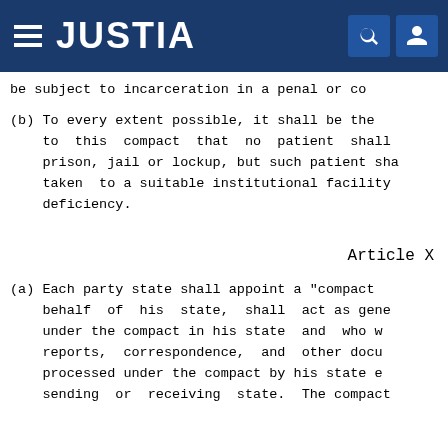JUSTIA
be subject to incarceration in a penal or co
(b) To every extent possible, it shall be the to this compact that no patient shall prison, jail or lockup, but such patient sha taken to a suitable institutional facility deficiency.
Article X
(a) Each party state shall appoint a "compact behalf of his state, shall act as gene under the compact in his state and who w reports, correspondence, and other docu processed under the compact by his state sending or receiving state. The compact